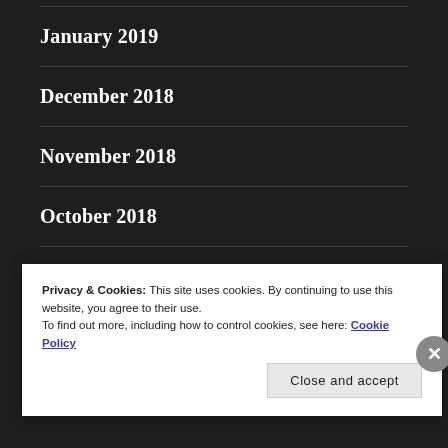January 2019
December 2018
November 2018
October 2018
September 2018
Privacy & Cookies: This site uses cookies. By continuing to use this website, you agree to their use.
To find out more, including how to control cookies, see here: Cookie Policy